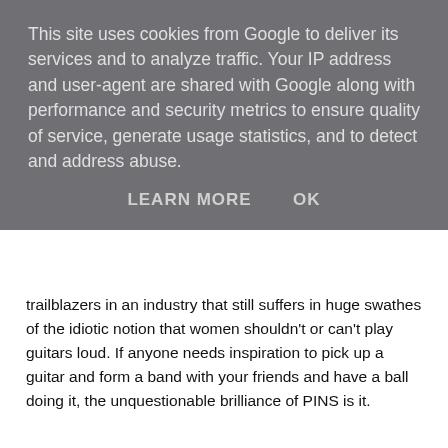This site uses cookies from Google to deliver its services and to analyze traffic. Your IP address and user-agent are shared with Google along with performance and security metrics to ensure quality of service, generate usage statistics, and to detect and address abuse.
LEARN MORE   OK
trailblazers in an industry that still suffers in huge swathes of the idiotic notion that women shouldn't or can't play guitars loud. If anyone needs inspiration to pick up a guitar and form a band with your friends and have a ball doing it, the unquestionable brilliance of PINS is it.
PINS official website can be found here.  They are on Facebook and Twitter.
Love And Peace Barbershop Muhammed Ali can be found on Facebook and Twitter.
Kyogen can be found on Facebook and Twitter.